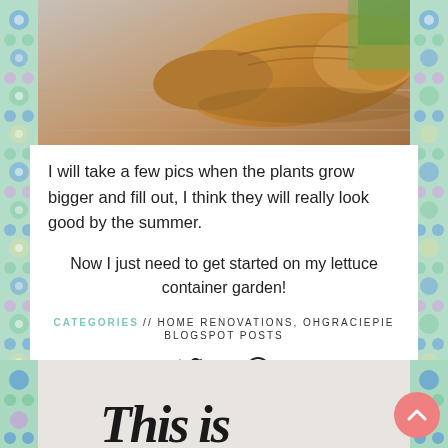[Figure (photo): Close-up photo of a tan/brown shoe on a wooden surface, partial view]
I will take a few pics when the plants grow bigger and fill out, I think they will really look good by the summer.
Now I just need to get started on my lettuce container garden!
CATEGORIES // HOME RENOVATIONS, OHGRACIEPIE BLOGSPOT POSTS
[Figure (illustration): Social media share icons: Twitter bird and WhatsApp phone]
[Figure (photo): Bottom partial section with decorative floral border and 'This is' handwritten text beginning]
[Figure (other): Pink circular scroll-to-top button with upward chevron arrow]